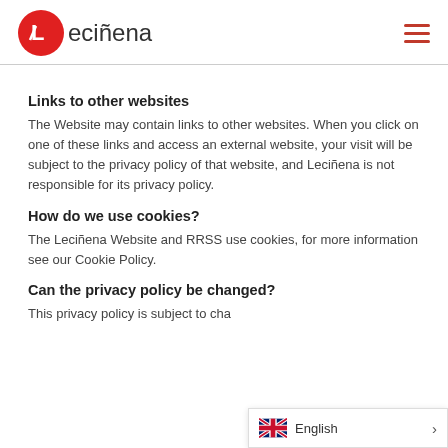Leciñena
Links to other websites
The Website may contain links to other websites. When you click on one of these links and access an external website, your visit will be subject to the privacy policy of that website, and Leciñena is not responsible for its privacy policy.
How do we use cookies?
The Leciñena Website and RRSS use cookies, for more information see our Cookie Policy.
Can the privacy policy be changed?
This privacy policy is subject to cha…
English